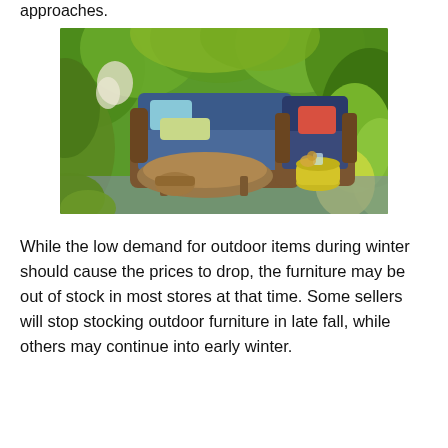approaches.
[Figure (photo): Outdoor patio furniture set with wicker/rattan sofa and armchair with blue cushions, colorful throw pillows (light blue, green, coral/red), round wicker coffee table, yellow ceramic garden stool, surrounded by lush green tropical plants and foliage.]
While the low demand for outdoor items during winter should cause the prices to drop, the furniture may be out of stock in most stores at that time. Some sellers will stop stocking outdoor furniture in late fall, while others may continue into early winter.